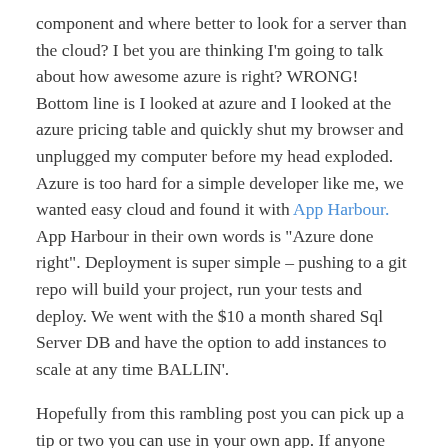component and where better to look for a server than the cloud? I bet you are thinking I'm going to talk about how awesome azure is right? WRONG! Bottom line is I looked at azure and I looked at the azure pricing table and quickly shut my browser and unplugged my computer before my head exploded. Azure is too hard for a simple developer like me, we wanted easy cloud and found it with App Harbour. App Harbour in their own words is "Azure done right". Deployment is super simple – pushing to a git repo will build your project, run your tests and deploy. We went with the $10 a month shared Sql Server DB and have the option to add instances to scale at any time BALLIN'.
Hopefully from this rambling post you can pick up a tip or two you can use in your own app. If anyone (ha! like anyone reads my blog) would like some more information on something I have posted here hit my up in the comments and I might do a blog post on it or maybe just send you some code.